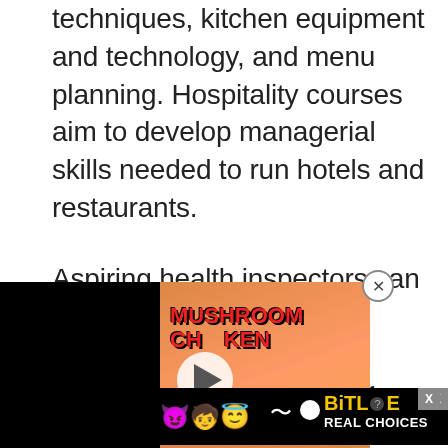techniques, kitchen equipment and technology, and menu planning. Hospitality courses aim to develop managerial skills needed to run hotels and restaurants.
Aspiring health inspectors can apply for certification in food sanitation. The certification is essential for prep workers, line cooks, and anyone who works in a restaurant environment. Courses train students on preventing food-borne illnesses...
[Figure (other): Video player overlay showing a mushroom chicken recipe video thumbnail with play button, partially overlapping the main article text. A close (X) button is visible at the top right of the overlay.]
[Figure (other): BitLife advertisement banner at the bottom showing emoji characters (devil, girl, angel face) and the BitLife 'Real Choices' branding in yellow and white text on a black background.]